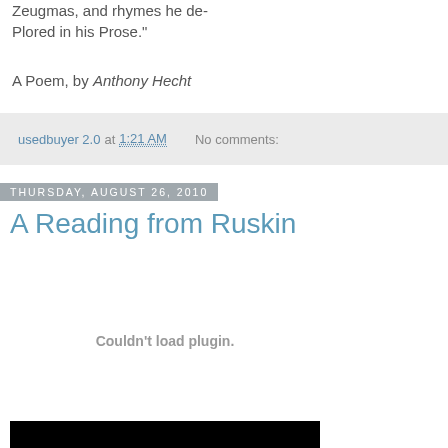Zeugmas, and rhymes he de-
Plored in his Prose."
A Poem, by Anthony Hecht
usedbuyer 2.0 at 1:21 AM   No comments:
Thursday, August 26, 2010
A Reading from Ruskin
Couldn't load plugin.
[Figure (other): Black bar at bottom, appears to be a video or media player element]